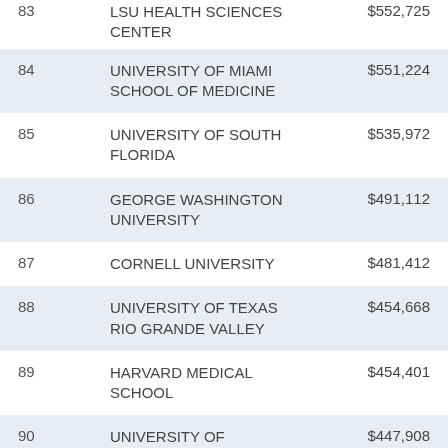| Rank | Institution | Amount |
| --- | --- | --- |
| 83 | LSU HEALTH SCIENCES CENTER | $552,725 |
| 84 | UNIVERSITY OF MIAMI SCHOOL OF MEDICINE | $551,224 |
| 85 | UNIVERSITY OF SOUTH FLORIDA | $535,972 |
| 86 | GEORGE WASHINGTON UNIVERSITY | $491,112 |
| 87 | CORNELL UNIVERSITY | $481,412 |
| 88 | UNIVERSITY OF TEXAS RIO GRANDE VALLEY | $454,668 |
| 89 | HARVARD MEDICAL SCHOOL | $454,401 |
| 90 | UNIVERSITY OF OKLAHOMA HLTH SCIENCES CTR | $447,908 |
| 91 | UNIVERSITY OF RHODE ISLAND | $447,309 |